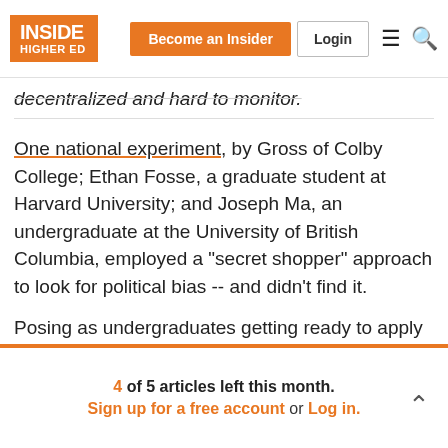INSIDE HIGHER ED | Become an Insider | Login
decentralized and hard to monitor.
One national experiment, by Gross of Colby College; Ethan Fosse, a graduate student at Harvard University; and Joseph Ma, an undergraduate at the University of British Columbia, employed a "secret shopper" approach to look for political bias -- and didn't find it.
Posing as undergraduates getting ready to apply to doctoral programs, they sent email messages to graduate program directors in top sociology, political science, economics, history and English departments.
4 of 5 articles left this month. Sign up for a free account or Log in.